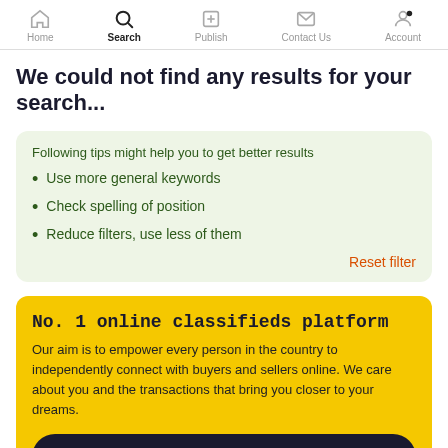Home | Search | Publish | Contact Us | Account
We could not find any results for your search...
Following tips might help you to get better results
Use more general keywords
Check spelling of position
Reduce filters, use less of them
Reset filter
No. 1 online classifieds platform
Our aim is to empower every person in the country to independently connect with buyers and sellers online. We care about you and the transactions that bring you closer to your dreams.
Add a new listing